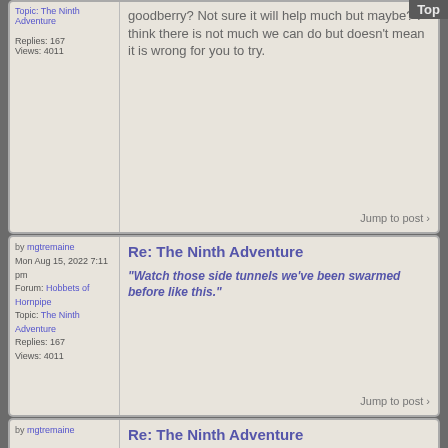Top
Replies: 167
Views: 4011
goodberry? Not sure it will help much but maybe? I think there is not much we can do but doesn't mean it is wrong for you to try.
Jump to post
by mgtremaine
Mon Aug 15, 2022 7:11 pm
Forum: Hobbets of Hornpipe
Topic: The Ninth Adventure
Replies: 167
Views: 4011
Re: The Ninth Adventure
"Watch those side tunnels we've been swarmed before like this."
Jump to post
by mgtremaine
Re: The Ninth Adventure